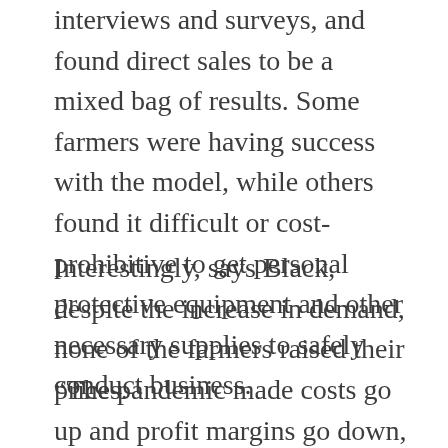interviews and surveys, and found direct sales to be a mixed bag of results. Some farmers were having success with the model, while others found it difficult or cost-prohibitive to get personal protective equipment and other necessary supplies to safely conduct business.
Interestingly, says Black, despite the increase in demand, none of the farmers raised their prices.
“The pandemic made costs go up and profit margins go down, but